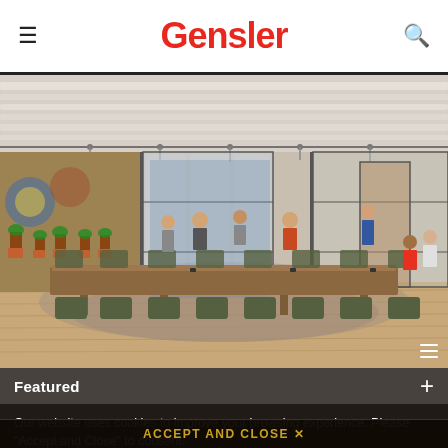Gensler
[Figure (photo): Interior photo of a modern open office space with a long wooden conference table, green chairs, large colorful mural on the left wall, glass partition walls, exposed ceiling with white structural elements and track lighting, people working in background]
Featured
Our website uses cookies to improve your browsing experience. Please “Accept and Close” to consent. View our Privacy & Cookies Policy.
ACCEPT AND CLOSE ×
News